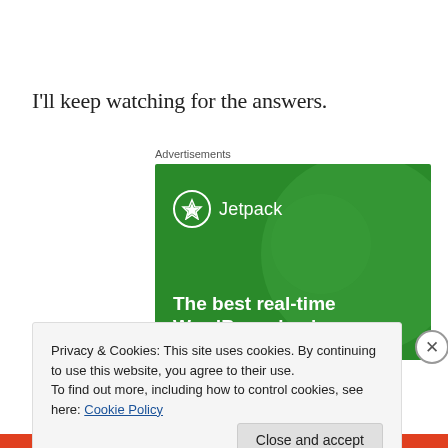I'll keep watching for the answers.
Advertisements
[Figure (illustration): Jetpack WordPress plugin advertisement banner with green background, large translucent circle, Jetpack logo (lightning bolt in circle) and text 'The best real-time WordPress backup']
Privacy & Cookies: This site uses cookies. By continuing to use this website, you agree to their use.
To find out more, including how to control cookies, see here: Cookie Policy
Close and accept